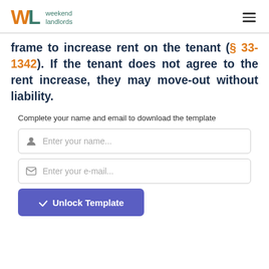Weekend Landlords
frame to increase rent on the tenant (§ 33-1342). If the tenant does not agree to the rent increase, they may move-out without liability.
Complete your name and email to download the template
[Figure (screenshot): Form with name input field, email input field, and Unlock Template button]